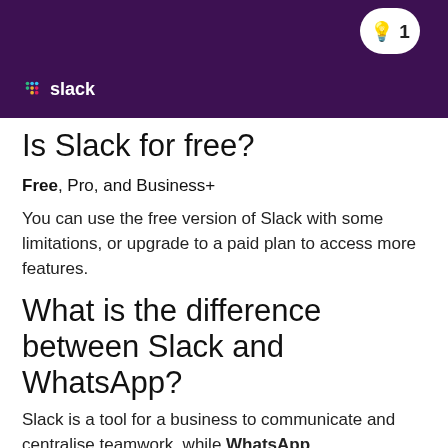[Figure (screenshot): Slack app header bar with dark purple background, Slack logo at bottom left, and a lightbulb badge showing '1' at top right]
Is Slack for free?
Free, Pro, and Business+
You can use the free version of Slack with some limitations, or upgrade to a paid plan to access more features.
What is the difference between Slack and WhatsApp?
Slack is a tool for a business to communicate and centralise teamwork, while WhatsApp